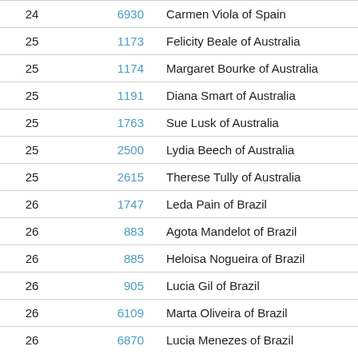| Rank | ID | Name |
| --- | --- | --- |
| 24 | 6930 | Carmen Viola of Spain |
| 25 | 1173 | Felicity Beale of Australia |
| 25 | 1174 | Margaret Bourke of Australia |
| 25 | 1191 | Diana Smart of Australia |
| 25 | 1763 | Sue Lusk of Australia |
| 25 | 2500 | Lydia Beech of Australia |
| 25 | 2615 | Therese Tully of Australia |
| 26 | 1747 | Leda Pain of Brazil |
| 26 | 883 | Agota Mandelot of Brazil |
| 26 | 885 | Heloisa Nogueira of Brazil |
| 26 | 905 | Lucia Gil of Brazil |
| 26 | 6109 | Marta Oliveira of Brazil |
| 26 | 6870 | Lucia Menezes of Brazil |